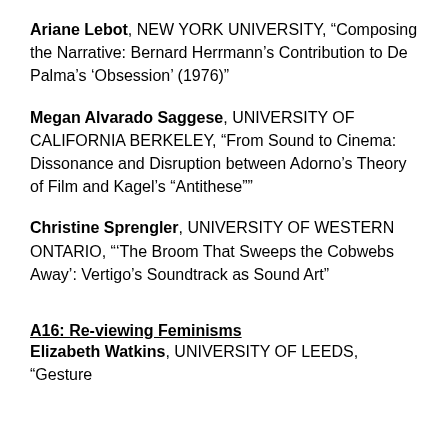Ariane Lebot, NEW YORK UNIVERSITY, “Composing the Narrative: Bernard Herrmann’s Contribution to De Palma’s ‘Obsession’ (1976)”
Megan Alvarado Saggese, UNIVERSITY OF CALIFORNIA BERKELEY, “From Sound to Cinema: Dissonance and Disruption between Adorno’s Theory of Film and Kagel’s “Antithese””
Christine Sprengler, UNIVERSITY OF WESTERN ONTARIO, “‘The Broom That Sweeps the Cobwebs Away’: Vertigo’s Soundtrack as Sound Art”
A16: Re-viewing Feminisms
Elizabeth Watkins, UNIVERSITY OF LEEDS, “Gesture